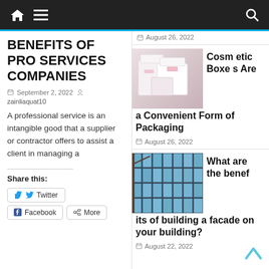Navigation bar with home icon, menu icon, and search icon
BENEFITS OF PRO SERVICES COMPANIES
September 2, 2022  zainliaquat10
A professional service is an intangible good that a supplier or contractor offers to assist a client in managing a
Share this:
Twitter
Facebook  More
August 26, 2022
[Figure (photo): Photo of cosmetic boxes packaging - white and pink boxes]
Cosmetic Boxes Are a Convenient Form of Packaging
August 26, 2022
[Figure (photo): Photo of building facade with glass panels and blue sky]
What are the benefits of building a facade on your building?
August 22, 2022